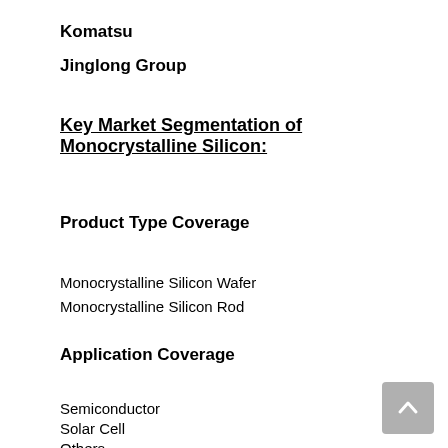Komatsu
Jinglong Group
Key Market Segmentation of Monocrystalline Silicon:
Product Type Coverage
Monocrystalline Silicon Wafer
Monocrystalline Silicon Rod
Application Coverage
Semiconductor
Solar Cell
Others